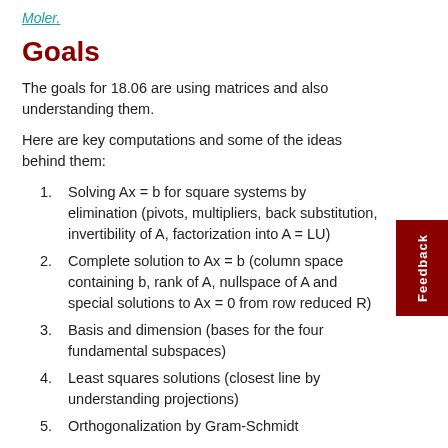Moler.
Goals
The goals for 18.06 are using matrices and also understanding them.
Here are key computations and some of the ideas behind them:
Solving Ax = b for square systems by elimination (pivots, multipliers, back substitution, invertibility of A, factorization into A = LU)
Complete solution to Ax = b (column space containing b, rank of A, nullspace of A and special solutions to Ax = 0 from row reduced R)
Basis and dimension (bases for the four fundamental subspaces)
Least squares solutions (closest line by understanding projections)
Orthogonalization by Gram-Schmidt